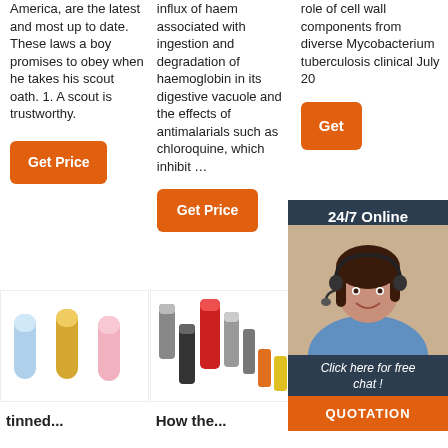America, are the latest and most up to date. These laws a boy promises to obey when he takes his scout oath. 1. A scout is trustworthy.
[Figure (other): Orange 'Get Price' button]
influx of haem associated with ingestion and degradation of haemoglobin in its digestive vacuole and the effects of antimalarials such as chloroquine, which inhibit …
[Figure (other): Orange 'Get Price' button]
role of cell wall components from diverse Mycobacterium tuberculosis clinical July 20
[Figure (other): Orange 'Get' button]
[Figure (other): 24/7 Online chat widget with photo of woman with headset, 'Click here for free chat!' text and QUOTATION button]
[Figure (photo): Electrical wire connectors/ferrules - blue, gold, pink cylindrical butt connectors]
[Figure (photo): Electrical wire ferrule connectors in various colors - red, black, orange, yellow, grey]
[Figure (photo): Blue heat shrink butt connectors with TOP icon]
tinned...
How the...
Access...